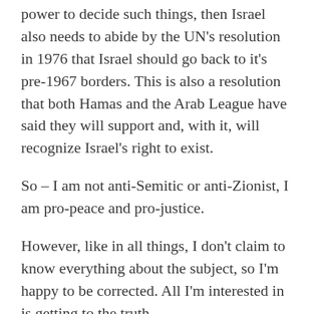power to decide such things, then Israel also needs to abide by the UN's resolution in 1976 that Israel should go back to it's pre-1967 borders. This is also a resolution that both Hamas and the Arab League have said they will support and, with it, will recognize Israel's right to exist.
So – I am not anti-Semitic or anti-Zionist, I am pro-peace and pro-justice.
However, like in all things, I don't claim to know everything about the subject, so I'm happy to be corrected. All I'm interested in is getting to the truth.
Can anyone tell me where I am misguided or wrong?